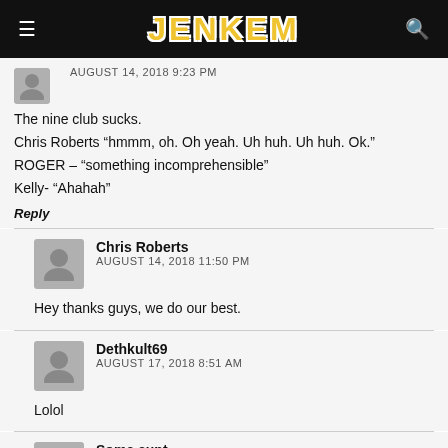JENKEM
AUGUST 14, 2018 9:23 PM
The nine club sucks.
Chris Roberts “hmmm, oh. Oh yeah. Uh huh. Uh huh. Ok.”
ROGER – “something incomprehensible”
Kelly- “Ahahah”
Reply
Chris Roberts
AUGUST 14, 2018 11:50 PM
Hey thanks guys, we do our best.
Dethkult69
AUGUST 17, 2018 8:51 AM
Lolol
Some cunt
AUGUST 23, 2018 8:30 PM